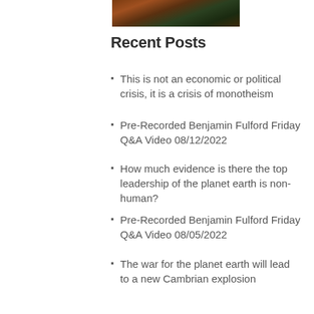[Figure (photo): Partial image at the top, showing what appears to be a dark figure or creature with brown and green tones.]
Recent Posts
This is not an economic or political crisis, it is a crisis of monotheism
Pre-Recorded Benjamin Fulford Friday Q&A Video 08/12/2022
How much evidence is there the top leadership of the planet earth is non-human?
Pre-Recorded Benjamin Fulford Friday Q&A Video 08/05/2022
The war for the planet earth will lead to a new Cambrian explosion
Categories
podcast (13)
Weekly Video Reports (41)
White Dragon Society (1,027)